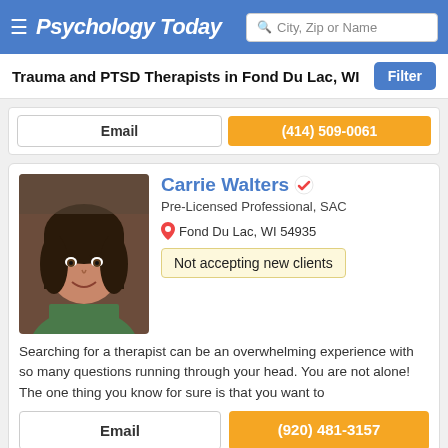Psychology Today | City, Zip or Name
Trauma and PTSD Therapists in Fond Du Lac, WI
Email | (414) 509-0061
Carrie Walters, Pre-Licensed Professional, SAC, Fond Du Lac, WI 54935, Not accepting new clients
Searching for a therapist can be an overwhelming experience with so many questions running through your head. You are not alone! The one thing you know for sure is that you want to
Email | (920) 481-3157